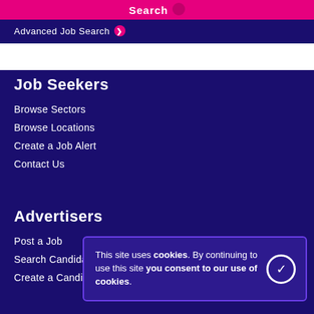Search
Advanced Job Search ❯
Job Seekers
Browse Sectors
Browse Locations
Create a Job Alert
Contact Us
Advertisers
Post a Job
Search Candidates
Create a Candidate Alert
This site uses cookies. By continuing to use this site you consent to our use of cookies.